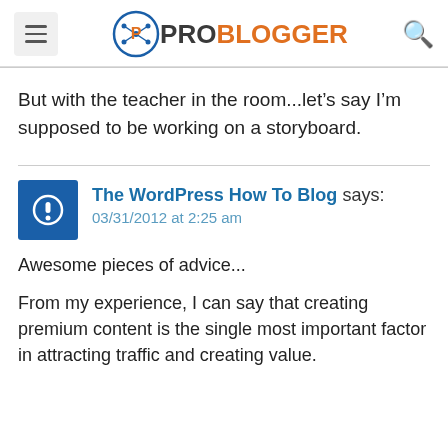ProBlogger
But with the teacher in the room...let's say I'm supposed to be working on a storyboard.
The WordPress How To Blog says: 03/31/2012 at 2:25 am
Awesome pieces of advice...
From my experience, I can say that creating premium content is the single most important factor in attracting traffic and creating value.